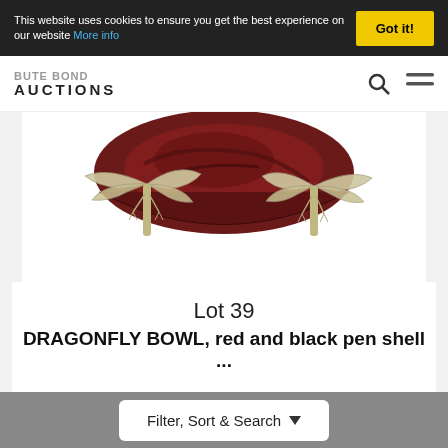This website uses cookies to ensure you get the best experience on our website More info
Got it!
AUCTIONS
[Figure (photo): A dragonfly bowl made of red and black pen shell, shown from below with silver dragonfly legs/feet supporting it on a white background]
Lot 39
DRAGONFLY BOWL, red and black pen shell ...
Hammer £580
Filter, Sort & Search